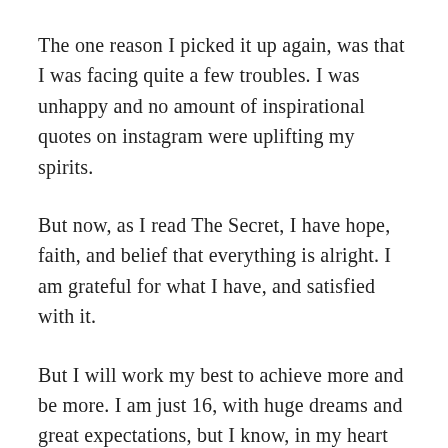The one reason I picked it up again, was that I was facing quite a few troubles. I was unhappy and no amount of inspirational quotes on instagram were uplifting my spirits.
But now, as I read The Secret, I have hope, faith, and belief that everything is alright. I am grateful for what I have, and satisfied with it.
But I will work my best to achieve more and be more. I am just 16, with huge dreams and great expectations, but I know, in my heart that I can and will achieve all of it, no matter what happens.